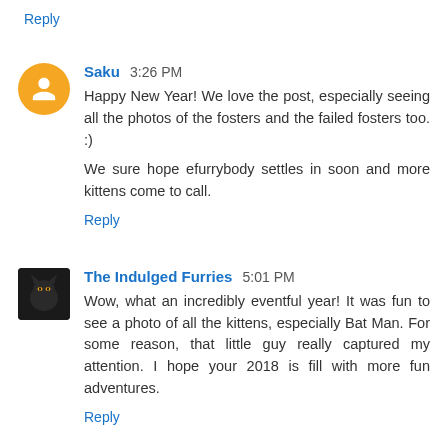Reply
Saku 3:26 PM
Happy New Year! We love the post, especially seeing all the photos of the fosters and the failed fosters too. :)

We sure hope efurrybody settles in soon and more kittens come to call.
Reply
The Indulged Furries 5:01 PM
Wow, what an incredibly eventful year! It was fun to see a photo of all the kittens, especially Bat Man. For some reason, that little guy really captured my attention. I hope your 2018 is fill with more fun adventures.
Reply